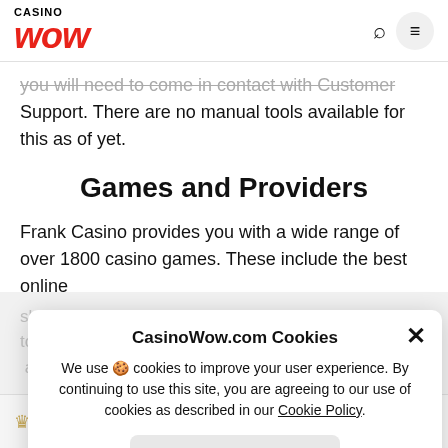CASINO WOW
you will need to come in contact with Customer Support. There are no manual tools available for this as of yet.
Games and Providers
Frank Casino provides you with a wide range of over 1800 casino games. These include the best online slots, table games, live dealer variants and more from top soft... player at this ca... from... a few.
CasinoWow.com Cookies
We use 🍪 cookies to improve your user experience. By continuing to use this site, you are agreeing to our use of cookies as described in our Cookie Policy.
Accept
Frank Casino